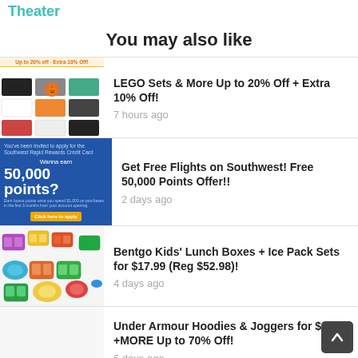Theater
You may also like
LEGO Sets & More Up to 20% Off + Extra 10% Off! — 7 hours ago
Get Free Flights on Southwest! Free 50,000 Points Offer!! — 2 days ago
Bentgo Kids' Lunch Boxes + Ice Pack Sets for $17.99 (Reg $52.98)! — 4 days ago
Under Armour Hoodies & Joggers for $19.99 +MORE Up to 70% Off! — 6 days ago